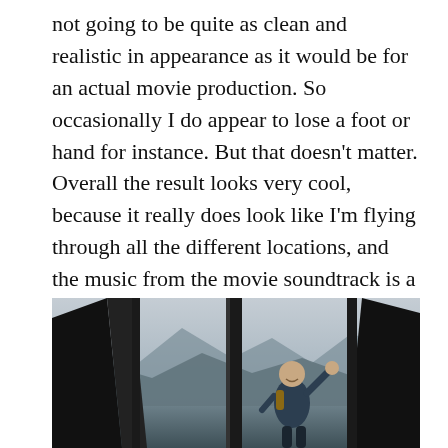not going to be quite as clean and realistic in appearance as it would be for an actual movie production. So occasionally I do appear to lose a foot or hand for instance. But that doesn't matter. Overall the result looks very cool, because it really does look like I'm flying through all the different locations, and the music from the movie soundtrack is a perfect accompaniment. So I'm really pleased with how the video and photos came out, it's a lovely unique souvenir!
[Figure (photo): A person waving while appearing to fly or stand near a large spacecraft or aircraft structure, with mountains and an overcast sky in the background — a green-screen composite photo souvenir.]